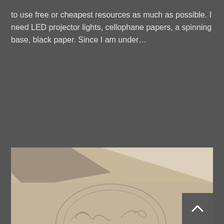to use free or cheapest resources as much as possible. I need LED projector lights, cellophane papers, a spinning base, black paper. Since I am under…
READ MORE
[Figure (photo): A pencil sketch drawing on paper showing a circular composition with figures, photographed with dramatic shadow light across the top portion of the image.]
[Figure (other): Back to top arrow button in dark grey square, bottom right corner]